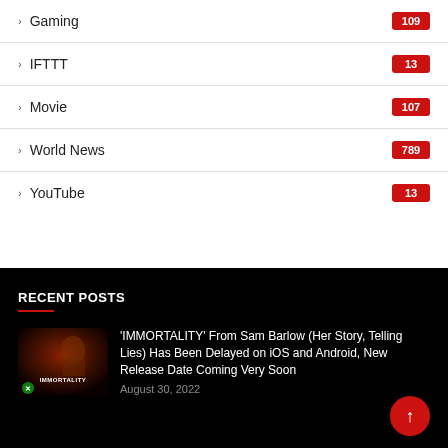Gaming 109
IFTTT 13
Movie 107
World News 789
YouTube 13
RECENT POSTS
[Figure (photo): Thumbnail image for the Immortality game article, dark reddish background with text 'IMMORTALITY' and Xbox logo]
'IMMORTALITY' From Sam Barlow (Her Story, Telling Lies) Has Been Delayed on iOS and Android, New Release Date Coming Very Soon
August 30, 2022